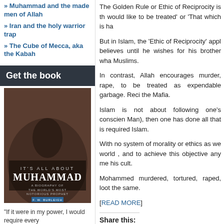» Muhammad and the made men of Allah
» Iran and the holy warrior trap
» The Cube of Mecca, aka the Kabah
Get the book
[Figure (photo): Book cover: It's All About Muhammad - A Biography of the World's Most Notorious Prophet by F.W. Burleigh]
"If it were in my power, I would require every
The Golden Rule or Ethic of Reciprocity is th would like to be treated' or 'That which is ha
But in Islam, the 'Ethic of Reciprocity' appl believes until he wishes for his brother wha Muslims.
In contrast, Allah encourages murder, rape, to be treated as expendable garbage. Reci the Mafia.
Islam is not about following one's conscien Man), then one has done all that is required Islam.
With no system of morality or ethics as we world , and to achieve this objective any me his cult.
Mohammed murdered, tortured, raped, loot the same.
[READ MORE]
Share this: